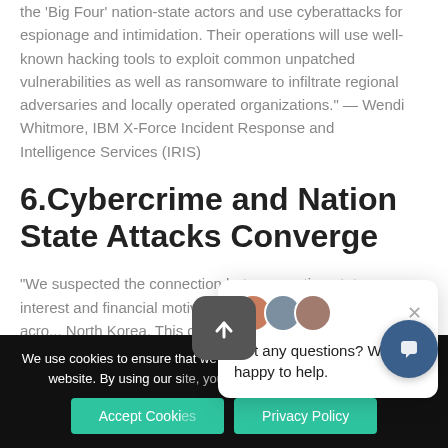the 'Big Four' nation-state actors and use cyberattacks for espionage and intimidation. Their operations will use well-known hacking tools to exploit common unpatched vulnerabilities as well as ransomware to infiltrate regional adversaries and locally operated organizations." — Wendi Whitmore, IBM X-Force Incident Response and Intelligence Services (IRIS)
6.Cybercrime and Nation State Attacks Converge
"We suspected the connection between nation-state interest and financial motivation... that spread like wildfire across... North Korea. This convergence...
We use cookies to ensure that we give you the best experience on our website. By using our site, you consent to the use of cookies.
Accept Cookies   Privacy Policy
[Figure (screenshot): Chat popup with avatars and message 'Got any questions? We're happy to help.' with close button]